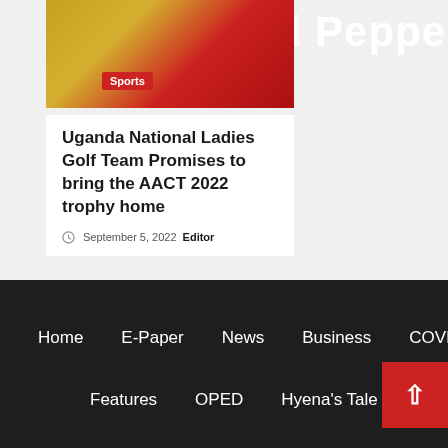Red Pepper
[Figure (photo): Sports photo with Uganda flag colors, red and yellow, with a person visible]
Sports
Uganda National Ladies Golf Team Promises to bring the AACT 2022 trophy home
September 5, 2022  Editor
Home  E-Paper  News  Business  COVID  Features  OPED  Hyena's Tale  Sports